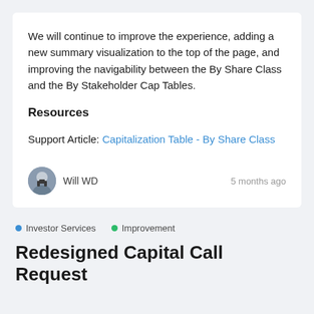We will continue to improve the experience, adding a new summary visualization to the top of the page, and improving the navigability between the By Share Class and the By Stakeholder Cap Tables.
Resources
Support Article: Capitalization Table - By Share Class
Will WD   5 months ago
Investor Services
Improvement
Redesigned Capital Call Request